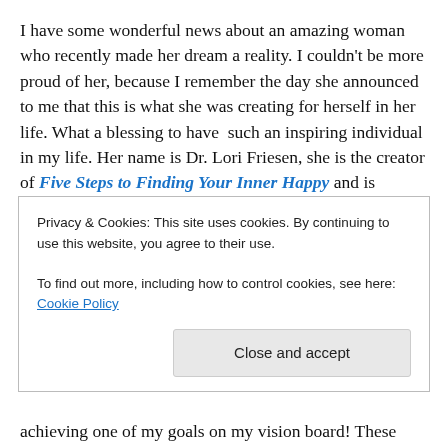I have some wonderful news about an amazing woman who recently made her dream a reality. I couldn't be more proud of her, because I remember the day she announced to me that this is what she was creating for herself in her life. What a blessing to have  such an inspiring individual in my life. Her name is Dr. Lori Friesen, she is the creator of Five Steps to Finding Your Inner Happy and is launching a new book  called How Your Dog Can Help Your Child Read, Lead and Succeed. Her dream was to have her program endorsed by Jack Canfield, acclaimed
Privacy & Cookies: This site uses cookies. By continuing to use this website, you agree to their use.
To find out more, including how to control cookies, see here: Cookie Policy
Close and accept
achieving one of my goals on my vision board! These